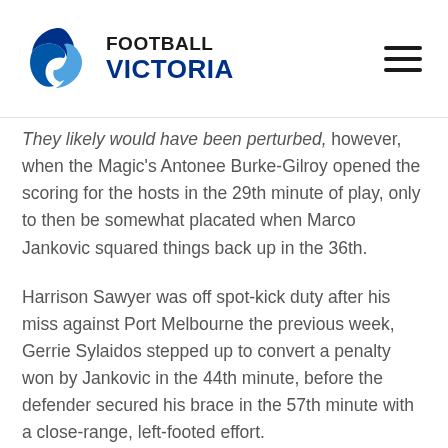Football Victoria
They likely would have been perturbed, however, when the Magic's Antonee Burke-Gilroy opened the scoring for the hosts in the 29th minute of play, only to then be somewhat placated when Marco Jankovic squared things back up in the 36th.
Harrison Sawyer was off spot-kick duty after his miss against Port Melbourne the previous week, Gerrie Sylaidos stepped up to convert a penalty won by Jankovic in the 44th minute, before the defender secured his brace in the 57th minute with a close-range, left-footed effort.